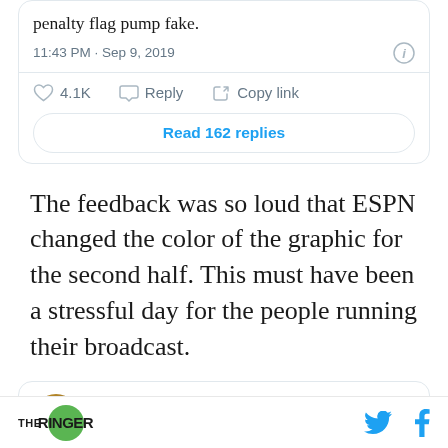[Figure (screenshot): Tweet card showing partial tweet text 'penalty flag pump fake.' with timestamp 11:43 PM · Sep 9, 2019, like count 4.1K, Reply, Copy link actions, and Read 162 replies button]
The feedback was so loud that ESPN changed the color of the graphic for the second half. This must have been a stressful day for the people running their broadcast.
[Figure (screenshot): Partial tweet card showing Adam Schefter with verified badge and Twitter bird icon]
THE RINGER